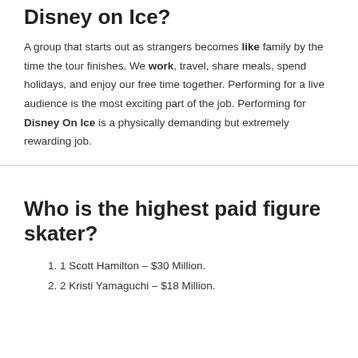What is it like to work for Disney on Ice?
A group that starts out as strangers becomes like family by the time the tour finishes. We work, travel, share meals, spend holidays, and enjoy our free time together. Performing for a live audience is the most exciting part of the job. Performing for Disney On Ice is a physically demanding but extremely rewarding job.
Who is the highest paid figure skater?
1 Scott Hamilton – $30 Million.
2 Kristi Yamaguchi – $18 Million.